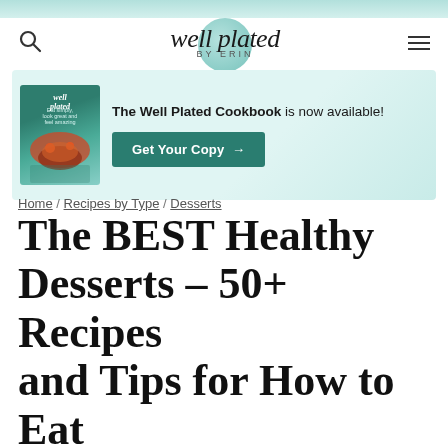well plated BY ERIN
[Figure (infographic): Advertisement banner for The Well Plated Cookbook with book image, text 'The Well Plated Cookbook is now available!', and a teal 'Get Your Copy →' button]
Home / Recipes by Type / Desserts
The BEST Healthy Desserts – 50+ Recipes and Tips for How to Eat Dessert and Lose Weight